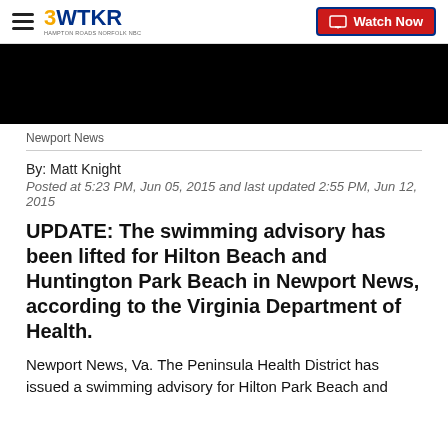3WTKR | Watch Now
[Figure (photo): Black video player placeholder image]
Newport News
By: Matt Knight
Posted at 5:23 PM, Jun 05, 2015 and last updated 2:55 PM, Jun 12, 2015
UPDATE: The swimming advisory has been lifted for Hilton Beach and Huntington Park Beach in Newport News, according to the Virginia Department of Health.
Newport News, Va. The Peninsula Health District has issued a swimming advisory for Hilton Park Beach and